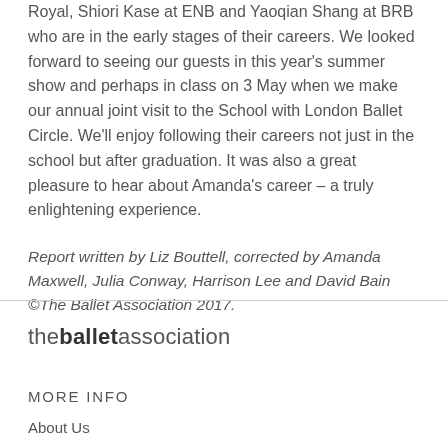Royal, Shiori Kase at ENB and Yaoqian Shang at BRB who are in the early stages of their careers. We looked forward to seeing our guests in this year's summer show and perhaps in class on 3 May when we make our annual joint visit to the School with London Ballet Circle. We'll enjoy following their careers not just in the school but after graduation. It was also a great pleasure to hear about Amanda's career – a truly enlightening experience.
Report written by Liz Bouttell, corrected by Amanda Maxwell, Julia Conway, Harrison Lee and David Bain ©The Ballet Association 2017.
[Figure (logo): The Ballet Association logo: 'the' in regular weight, 'ballet' in bold, 'association' in regular weight, all lowercase sans-serif]
MORE INFO
About Us